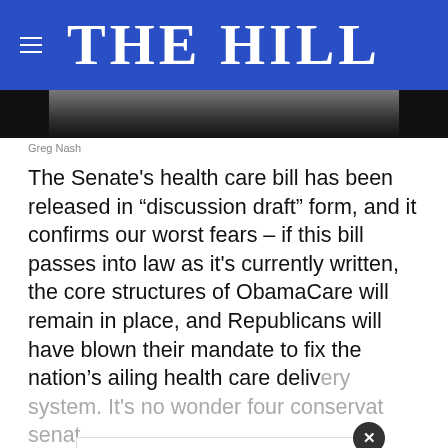THE HILL
[Figure (photo): Partial photo of a person, cropped, dark background]
Greg Nash
The Senate's health care bill has been released in "discussion draft" form, and it confirms our worst fears – if this bill passes into law as it's currently written, the core structures of ObamaCare will remain in place, and Republicans will have blown their mandate to fix the nation's ailing health care delivery system. It's no wonder four conservat[ive] senat[ors] ... Texas), Mike Lee (R-Utah), and Ron Johnson (R-
[Figure (infographic): Advertisement overlay: THESHELTERPETPROJECT.ORG with close button and ad icons]